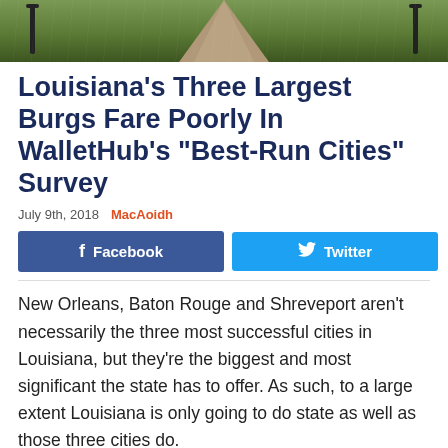[Figure (photo): Outdoor photo showing a green park or garden area with a central walkway/path receding into the distance, flanked by trees and lamp posts.]
Louisiana’s Three Largest Burgs Fare Poorly In WalletHub’s “Best-Run Cities” Survey
July 9th, 2018   MacAoidh
Facebook   Twitter   79 SHARES
New Orleans, Baton Rouge and Shreveport aren’t necessarily the three most successful cities in Louisiana, but they’re the biggest and most significant the state has to offer. As such, to a large extent Louisiana is only going to do state as well as those three cities do.